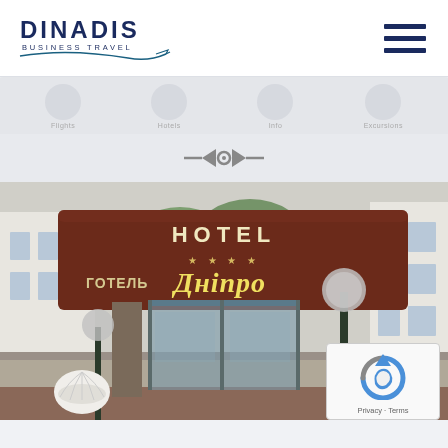[Figure (logo): Dinadis Business Travel logo with text and swoosh/plane graphic]
[Figure (other): Hamburger menu icon (three horizontal lines) in dark navy]
[Figure (other): Navigation row with four circular icon placeholders and faint labels: flights, hotels, info, excursions]
[Figure (other): Horizontal double-headed arrow icon for image carousel navigation]
[Figure (photo): Hotel Dnipro (Готель Дніпро) entrance photo. Brown/maroon facade with gold lettering reading ГОТЕЛЬ ДНІПРО (with four stars) and HOTEL. Glass sliding entrance doors, decorative lampposts with silver globe lights, white shell-shaped sculpture, trees in background.]
[Figure (other): Google reCAPTCHA badge with Privacy and Terms text]